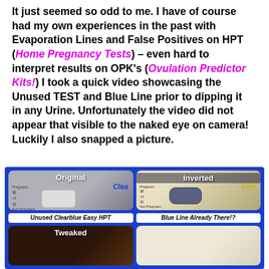It just seemed so odd to me. I have of course had my own experiences in the past with Evaporation Lines and False Positives on HPT (Home Pregnancy Tests) – even hard to interpret results on OPK's (Ovulation Predictor Kits!) I took a quick video showcasing the Unused TEST and Blue Line prior to dipping it in any Urine. Unfortunately the video did not appear that visible to the naked eye on camera! Luckily I also snapped a picture.
[Figure (photo): A 2x2 grid of pregnancy test images on a blue background. Top-left: Original photo of an Unused Clearblue Easy HPT showing Pregnant/Not Pregnant indicators. Top-right: Inverted image showing Blue Line Already There!? Bottom-left: Tweaked version. Bottom-right: Another view.]